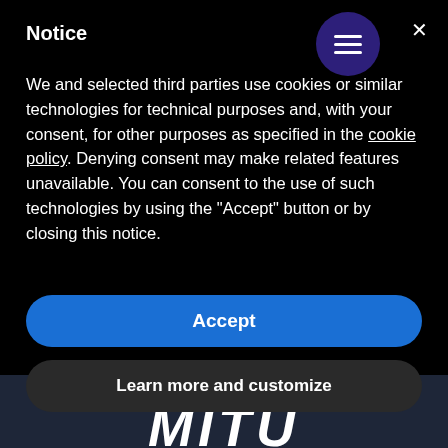Notice
We and selected third parties use cookies or similar technologies for technical purposes and, with your consent, for other purposes as specified in the cookie policy. Denying consent may make related features unavailable. You can consent to the use of such technologies by using the "Accept" button or by closing this notice.
Accept
Learn more and customize